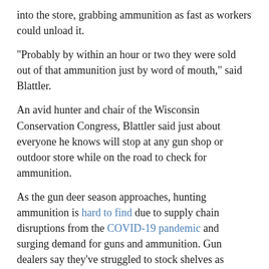into the store, grabbing ammunition as fast as workers could unload it.
"Probably by within an hour or two they were sold out of that ammunition just by word of mouth," said Blattler.
An avid hunter and chair of the Wisconsin Conservation Congress, Blattler said just about everyone he knows will stop at any gun shop or outdoor store while on the road to check for ammunition.
As the gun deer season approaches, hunting ammunition is hard to find due to supply chain disruptions from the COVID-19 pandemic and surging demand for guns and ammunition. Gun dealers say they've struggled to stock shelves as firearms sales have climbed due to unease stemming from the pandemic, civil unrest and 2020 presidential election.
Pat Kukull, owner of Superior Shooters Supply, said they had a shortage of shot gun ammunition for trap shooting over the summer with vendors sending maybe 2 percent of the usual 500